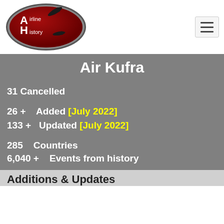[Figure (logo): Airline History oval logo with dark red background, airplane silhouettes, and white text reading 'Airline History']
Air Kufra
31 Cancelled
26 +   Added [July 2022]
133 +   Updated [July 2022]
285    Countries
6,040 +    Events from history
Additions & Updates